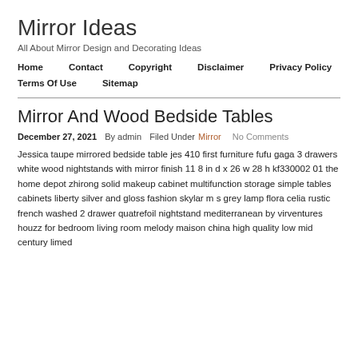Mirror Ideas
All About Mirror Design and Decorating Ideas
Home   Contact   Copyright   Disclaimer   Privacy Policy   Terms Of Use   Sitemap
Mirror And Wood Bedside Tables
December 27, 2021  By admin  Filed Under Mirror  No Comments
Jessica taupe mirrored bedside table jes 410 first furniture fufu gaga 3 drawers white wood nightstands with mirror finish 11 8 in d x 26 w 28 h kf330002 01 the home depot zhirong solid makeup cabinet multifunction storage simple tables cabinets liberty silver and gloss fashion skylar m s grey lamp flora celia rustic french washed 2 drawer quatrefoil nightstand mediterranean by virventures houzz for bedroom living room melody maison china high quality low mid century limed